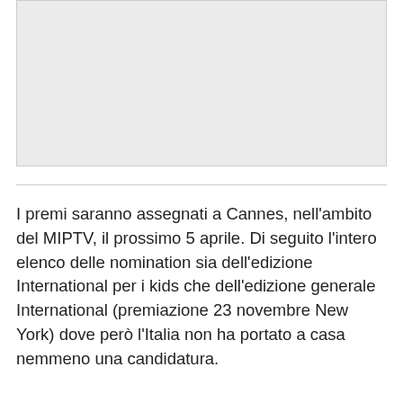[Figure (other): Gray placeholder image area at top of page]
I premi saranno assegnati a Cannes, nell'ambito del MIPTV, il prossimo 5 aprile. Di seguito l'intero elenco delle nomination sia dell'edizione International per i kids che dell'edizione generale International (premiazione 23 novembre New York) dove però l'Italia non ha portato a casa nemmeno una candidatura.